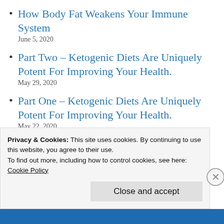How Body Fat Weakens Your Immune System
June 5, 2020
Part Two – Ketogenic Diets Are Uniquely Potent For Improving Your Health.
May 29, 2020
Part One – Ketogenic Diets Are Uniquely Potent For Improving Your Health.
May 22, 2020
Ketogenic Diet: Being In Nutritional Ketosis
Privacy & Cookies: This site uses cookies. By continuing to use this website, you agree to their use.
To find out more, including how to control cookies, see here:
Cookie Policy
Close and accept